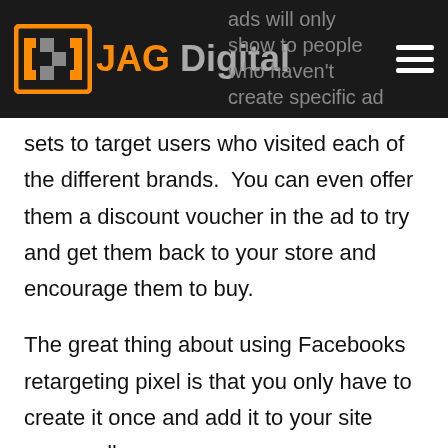JAG Digital — navigation bar with logo
ads will only show to people who haven't create specific ad sets to target users who visited each of the different brands.  You can even offer them a discount voucher in the ad to try and get them back to your store and encourage them to buy.
The great thing about using Facebooks retargeting pixel is that you only have to create it once and add it to your site across all pages.
The filtering can then all be done from within your ad sets so no need to have to tag pages individually.